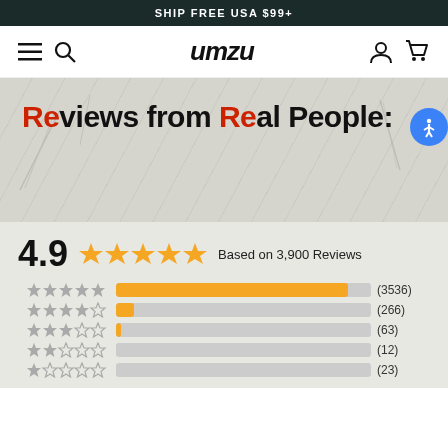SHIP FREE USA $99+
[Figure (screenshot): UMZU website navigation bar with hamburger menu, search icon, UMZU logo, account icon, and cart icon]
Reviews from Real People:
4.9  ★★★★★  Based on 3,900 Reviews
[Figure (bar-chart): Star rating distribution]